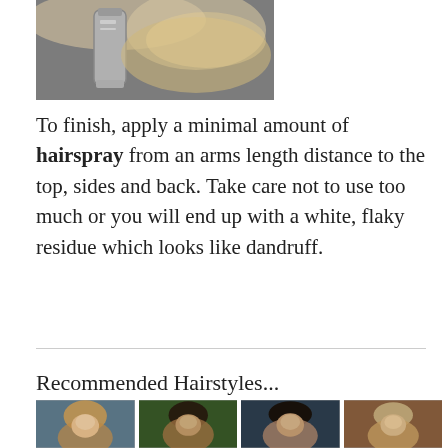[Figure (photo): Close-up photo of a person's hair being sprayed with a can of hairspray, blurred background]
To finish, apply a minimal amount of hairspray from an arms length distance to the top, sides and back. Take care not to use too much or you will end up with a white, flaky residue which looks like dandruff.
Recommended Hairstyles...
[Figure (photo): Four photos of women with short hairstyles: pixie cuts and bobs]